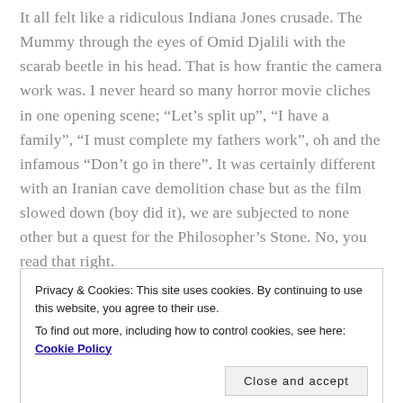It all felt like a ridiculous Indiana Jones crusade. The Mummy through the eyes of Omid Djalili with the scarab beetle in his head. That is how frantic the camera work was. I never heard so many horror movie cliches in one opening scene; “Let’s split up”, “I have a family”, “I must complete my fathers work”, oh and the infamous “Don’t go in there”. It was certainly different with an Iranian cave demolition chase but as the film slowed down (boy did it), we are subjected to none other but a quest for the Philosopher’s Stone. No, you read that right.
Privacy & Cookies: This site uses cookies. By continuing to use this website, you agree to their use. To find out more, including how to control cookies, see here: Cookie Policy
quicker. I could feel my eyes drooping. Our lead heroine